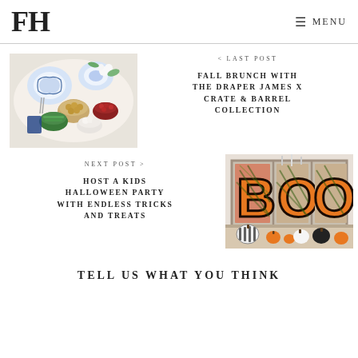FH   ≡ MENU
[Figure (photo): Overhead photo of a table set with blue and white dishes, food bowls with various dishes including greens, cranberries, small golden bites, and white flowers]
< LAST POST
FALL BRUNCH WITH THE DRAPER JAMES X CRATE & BARREL COLLECTION
NEXT POST >
HOST A KIDS HALLOWEEN PARTY WITH ENDLESS TRICKS AND TREATS
[Figure (photo): Halloween themed table display with large BOO letters made of orange pumpkins/gourds on a wooden shelf, with black and white striped pumpkins and decorations below]
TELL US WHAT YOU THINK